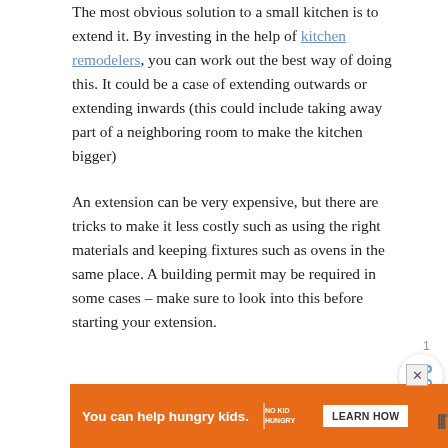The most obvious solution to a small kitchen is to extend it. By investing in the help of kitchen remodelers, you can work out the best way of doing this. It could be a case of extending outwards or extending inwards (this could include taking away part of a neighboring room to make the kitchen bigger)
An extension can be very expensive, but there are tricks to make it less costly such as using the right materials and keeping fixtures such as ovens in the same place. A building permit may be required in some cases – make sure to look into this before starting your extension.
[Figure (other): Advertisement banner: orange background with text 'You can help hungry kids.' and 'NO KID HUNGRY' logo with 'LEARN HOW' button. An X close button appears at top right of the ad.]